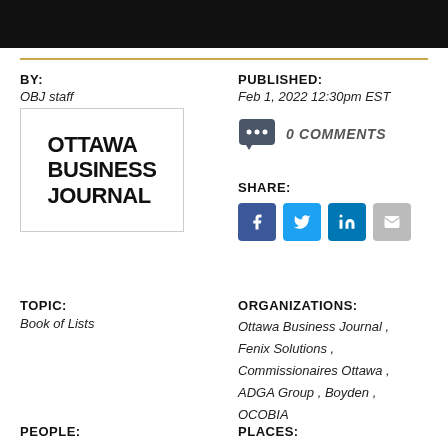BY:
OBJ staff
[Figure (logo): Ottawa Business Journal logo — bold black text on white background in a bordered box]
PUBLISHED:
Feb 1, 2022 12:30pm EST
0 COMMENTS
SHARE:
TOPIC:
Book of Lists
ORGANIZATIONS:
Ottawa Business Journal , Fenix Solutions , Commissionaires Ottawa , ADGA Group , Boyden , OCOBIA
PEOPLE:
PLACES: